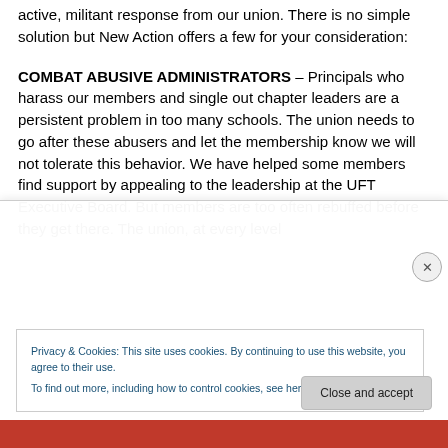active, militant response from our union. There is no simple solution but New Action offers a few for your consideration:
COMBAT ABUSIVE ADMINISTRATORS – Principals who harass our members and single out chapter leaders are a persistent problem in too many schools. The union needs to go after these abusers and let the membership know we will not tolerate this behavior. We have helped some members find support by appealing to the leadership at the UFT Executive Board. But members are too often rebuffed before they get there. The union, at every level
Privacy & Cookies: This site uses cookies. By continuing to use this website, you agree to their use.
To find out more, including how to control cookies, see here: Cookie Policy
Close and accept